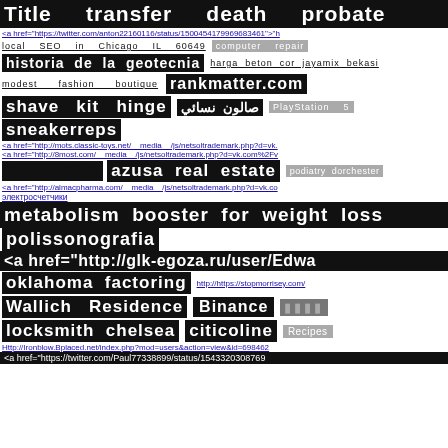Title transfer death probate
<a href="https://twitter.com/anton22160116/status/1500454179969683461">">
local SEO in Chicago IL 60649   computer repair
historia de la geotecnia   harga beton cor jayamix bekasi
modest fashion boutique   rankmatter.com
shave kit hinge   صالون نسائي   PlayStation 5
sneakerreps
<a href="http://mots.classic-toys.net/__media__/js/netsoltrademark.php?d=vk.
<a href="http://8most.com/__media__/js/netsoltrademark.php?d=vk.com%2Fv
■■■■■■■■   azusa real estate   podiatry dorchester
<a href="http://almacpharma.com/__media__/js/netsoltrademark.php?d=vk.co
электросчетчики
metabolism booster for weight loss
polissonografia
<a href="http://glk-egoza.ru/user/Edwa
oklahoma factoring   http://https://stopmorrisey.com/
Wallich Residence   Binance   ■ ■ ■ ■
locksmith chelsea   citicoline   Recipes
Http://Ironblow.Bplaced.net/index.php?mod=users&action=view&id=698462
<a href="https://twitter.com/Paul77338899/status/1543320308769